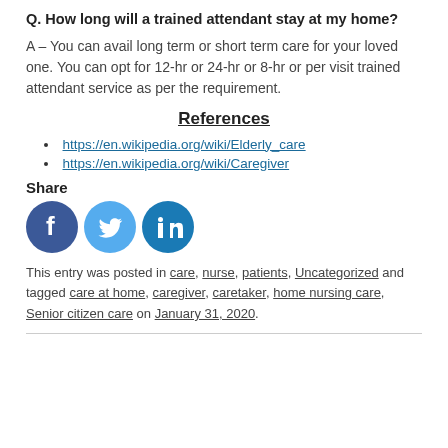Q. How long will a trained attendant stay at my home?
A – You can avail long term or short term care for your loved one. You can opt for 12-hr or 24-hr or 8-hr or per visit trained attendant service as per the requirement.
References
https://en.wikipedia.org/wiki/Elderly_care
https://en.wikipedia.org/wiki/Caregiver
Share
[Figure (illustration): Social media share icons: Facebook (dark blue circle with white f), Twitter (light blue circle with white bird), LinkedIn (dark teal circle with white in)]
This entry was posted in care, nurse, patients, Uncategorized and tagged care at home, caregiver, caretaker, home nursing care, Senior citizen care on January 31, 2020.